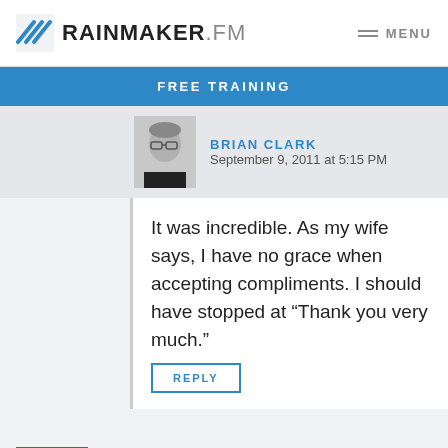RAINMAKER.FM — MENU
FREE TRAINING
BRIAN CLARK
September 9, 2011 at 5:15 PM
It was incredible. As my wife says, I have no grace when accepting compliments. I should have stopped at “Thank you very much.”
REPLY
BRENDON HELD
September 9, 2011 at 3:25 PM